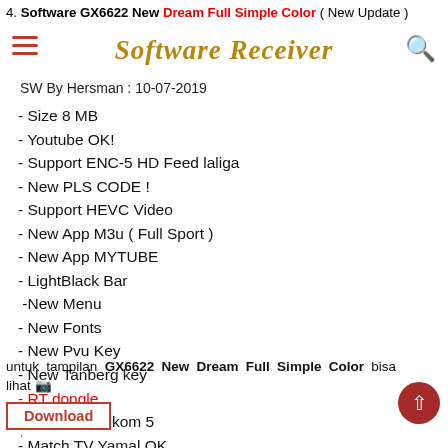4. Software GX6622 New Dream Full Simple Color ( New Update )
Software Receiver
SW By Hersman : 10-07-2019
- Size 8 MB
- Youtube OK!
- Support ENC-5 HD Feed laliga
- New PLS CODE !
- Support HEVC Video
- New App M3u ( Full Sport )
- New App MYTUBE
- LightBlack Bar
-New Menu
- New Fonts
- New Pvu Key
- New Tanberg key
- RT dongle
- IPM fixs thaikom 5
- Match TV Yamal OK
- Remot Original OK
untuk tampilan GX6622 New Dream Full Simple Color bisa lihat
Download